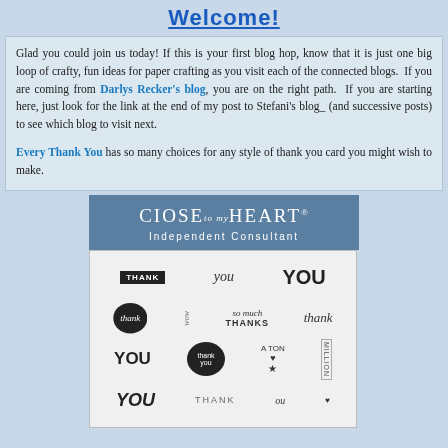Welcome!
Glad you could join us today! If this is your first blog hop, know that it is just one big loop of crafty, fun ideas for paper crafting as you visit each of the connected blogs.  If you are coming from Darlys Recker's blog, you are on the right path.  If you are starting here, just look for the link at the end of my post to Stefani's blog_ (and successive posts) to see which blog to visit next.

Every Thank You has so many choices for any style of thank you card you might wish to make.
[Figure (illustration): Close To My Heart Independent Consultant banner with a stamp set image below showing various 'thank you' sentiment stamps in different styles and fonts on a white background with grey border.]